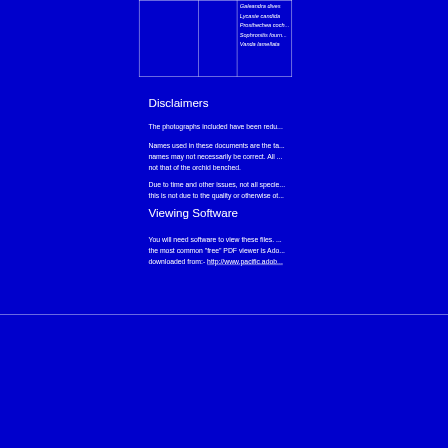|  |  | Galeandra dives
Lycaste candida
Prosthechea coch...
Sophronitis fourn...
Vanda lamellata |
Disclaimers
The photographs included have been redu...
Names used in these documents are the ta... names may not necessarily be correct. All ... not that of the orchid benched.
Due to time and other issues, not all specie... this is not due to the quality or otherwise ot...
Viewing Software
You will need software to view these files. ... the most common "free" PDF viewer is Ado... downloaded from:- http://www.pacific.adob...